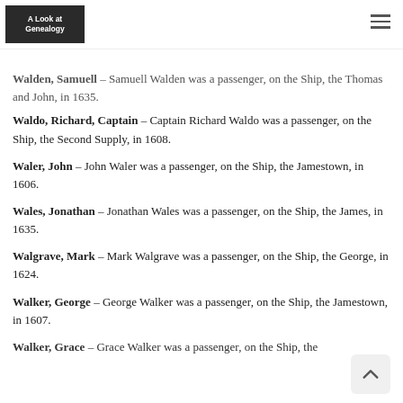A Look at Genealogy
Ship, the Warwick, in 1624.
Walden, Samuell – Samuell Walden was a passenger, on the Ship, the Thomas and John, in 1635.
Waldo, Richard, Captain – Captain Richard Waldo was a passenger, on the Ship, the Second Supply, in 1608.
Waler, John – John Waler was a passenger, on the Ship, the Jamestown, in 1606.
Wales, Jonathan – Jonathan Wales was a passenger, on the Ship, the James, in 1635.
Walgrave, Mark – Mark Walgrave was a passenger, on the Ship, the George, in 1624.
Walker, George – George Walker was a passenger, on the Ship, the Jamestown, in 1607.
Walker, Grace – Grace Walker was a passenger, on the Ship, the